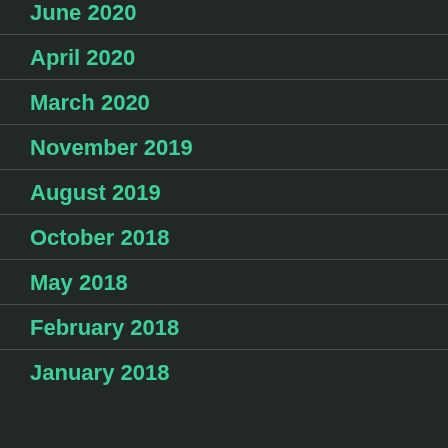June 2020
April 2020
March 2020
November 2019
August 2019
October 2018
May 2018
February 2018
January 2018